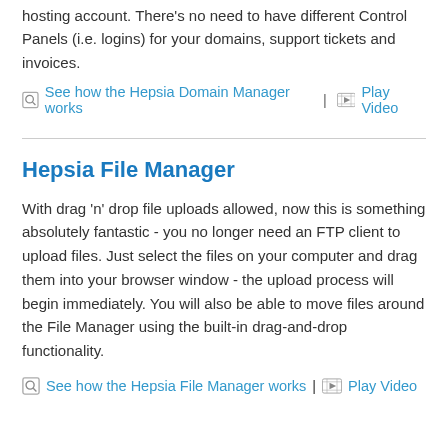hosting account. There's no need to have different Control Panels (i.e. logins) for your domains, support tickets and invoices.
See how the Hepsia Domain Manager works  |  Play Video
Hepsia File Manager
With drag 'n' drop file uploads allowed, now this is something absolutely fantastic - you no longer need an FTP client to upload files. Just select the files on your computer and drag them into your browser window - the upload process will begin immediately. You will also be able to move files around the File Manager using the built-in drag-and-drop functionality.
See how the Hepsia File Manager works  |  Play Video